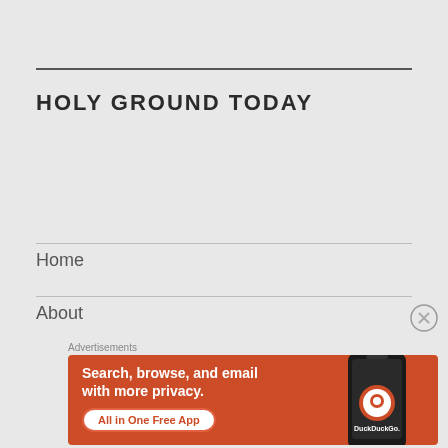HOLY GROUND TODAY
Home
About
[Figure (screenshot): DuckDuckGo advertisement banner: orange background with text 'Search, browse, and email with more privacy. All in One Free App' and a phone image with DuckDuckGo logo]